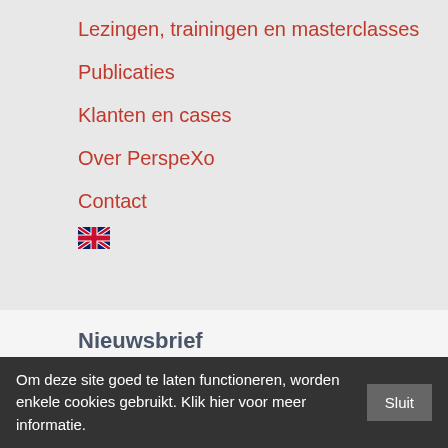Lezingen, trainingen en masterclasses
Publicaties
Klanten en cases
Over PerspeXo
Contact
[Figure (illustration): UK flag icon]
Nieuwsbrief
Zes keer per jaar versturen wij onze nieuwsbrief met daarin actuele winst- en waardetips en onze opleidingsagenda.
Om deze site goed te laten functioneren, worden enkele cookies gebruikt. Klik hier voor meer informatie.